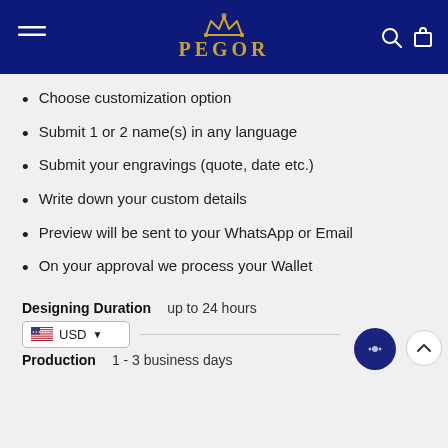PEGOR
Choose customization option
Submit 1 or 2 name(s) in any language
Submit your engravings (quote, date etc.)
Write down your custom details
Preview will be sent to your WhatsApp or Email
On your approval we process your Wallet
Designing Duration    up to 24 hours
Production    1 - 3 business days